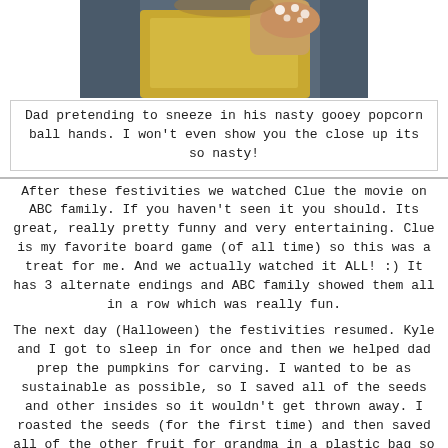[Figure (photo): Photo of a person in a yellow shirt with hands covered in sticky popcorn ball mixture, pretending to sneeze]
Dad pretending to sneeze in his nasty gooey popcorn ball hands. I won't even show you the close up its so nasty!
After these festivities we watched Clue the movie on ABC family. If you haven't seen it you should. Its great, really pretty funny and very entertaining. Clue is my favorite board game (of all time) so this was a treat for me. And we actually watched it ALL! :) It has 3 alternate endings and ABC family showed them all in a row which was really fun.
The next day (Halloween) the festivities resumed. Kyle and I got to sleep in for once and then we helped dad prep the pumpkins for carving. I wanted to be as sustainable as possible, so I saved all of the seeds and other insides so it wouldn't get thrown away. I roasted the seeds (for the first time) and then saved all of the other fruit for grandma in a plastic bag so that she could throw them in her compost bin (that's